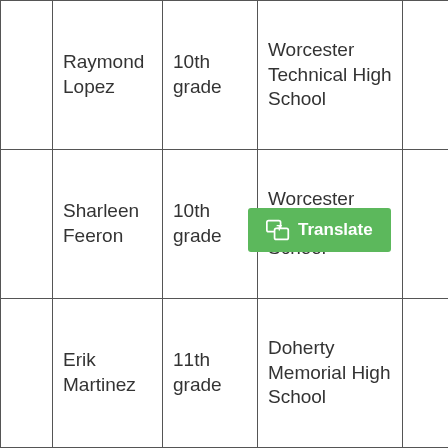|  | Raymond Lopez | 10th grade | Worcester Technical High School |  |
|  | Sharleen Feeron | 10th grade | Worcester Technical High School |  |
|  | Erik Martinez | 11th grade | Doherty Memorial High School |  |